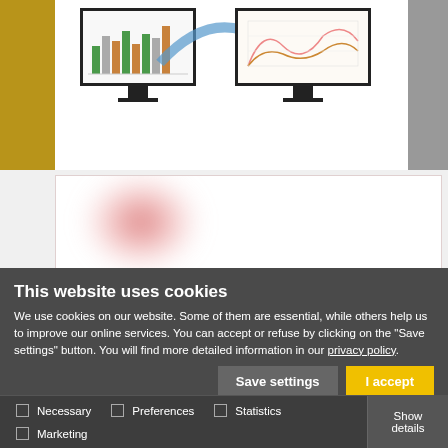[Figure (screenshot): Two computer monitors displaying dashboard/chart software, connected by a curved blue arrow suggesting data transfer. Left side has a yellow/gold bar, right side has a gray bar.]
[Figure (continuous-plot): Blurred heat map image showing a red/pink radial gradient blob on a white background, representing website click heatmap data.]
This website uses cookies
We use cookies on our website. Some of them are essential, while others help us to improve our online services. You can accept or refuse by clicking on the "Save settings" button. You will find more detailed information in our privacy policy.
Save settings
I accept
Necessary   Preferences   Statistics   Marketing   Show details